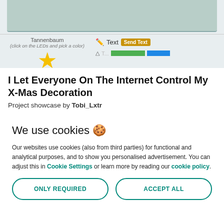[Figure (screenshot): Screenshot of a Tannenbaum Christmas tree interactive web app showing an LED tree, star, Text input with Send Text button, and colored bars]
I Let Everyone On The Internet Control My X-Mas Decoration
Project showcase by Tobi_Lxtr
We use cookies 🍪
Our websites use cookies (also from third parties) for functional and analytical purposes, and to show you personalised advertisement. You can adjust this in Cookie Settings or learn more by reading our cookie policy.
ONLY REQUIRED
ACCEPT ALL